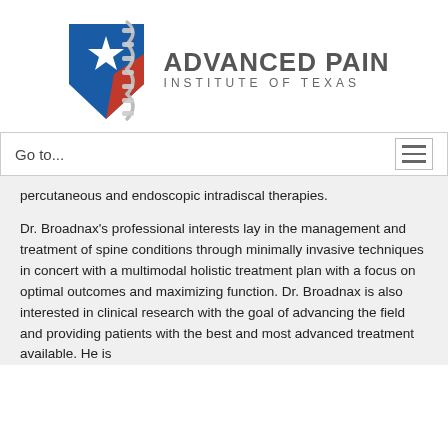[Figure (logo): Advanced Pain Institute of Texas logo — a stylized Texas state shape in blue with a white star and red accent, with a spinal column graphic in silver overlapping it, next to the text 'ADVANCED PAIN INSTITUTE OF TEXAS']
Go to...
percutaneous and endoscopic intradiscal therapies.
Dr. Broadnax's professional interests lay in the management and treatment of spine conditions through minimally invasive techniques in concert with a multimodal holistic treatment plan with a focus on optimal outcomes and maximizing function. Dr. Broadnax is also interested in clinical research with the goal of advancing the field and providing patients with the best and most advanced treatment available. He is